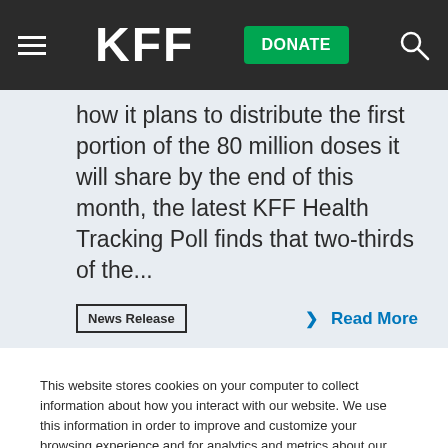KFF
how it plans to distribute the first portion of the 80 million doses it will share by the end of this month, the latest KFF Health Tracking Poll finds that two-thirds of the...
News Release
Read More
This website stores cookies on your computer to collect information about how you interact with our website. We use this information in order to improve and customize your browsing experience and for analytics and metrics about our visitors both on this website and other media. To find out more about the cookies we use, see our Privacy Policy.
Accept